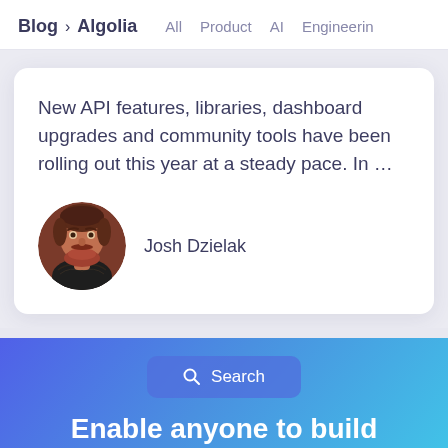Blog > Algolia   All   Product   AI   Engineering
New API features, libraries, dashboard upgrades and community tools have been rolling out this year at a steady pace. In …
Josh Dzielak
[Figure (photo): Circular avatar photo of Josh Dzielak, a man with brown beard and tattoos on his chest, wearing a dark shirt]
Search
Enable anyone to build great Search & Discovery